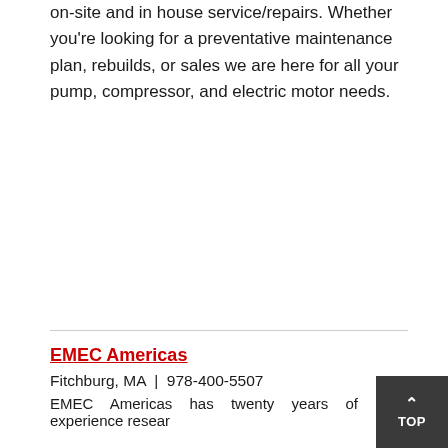on-site and in house service/repairs. Whether you're looking for a preventative maintenance plan, rebuilds, or sales we are here for all your pump, compressor, and electric motor needs.
EMEC Americas
Fitchburg, MA  |  978-400-5507
EMEC Americas has twenty years of experience resear